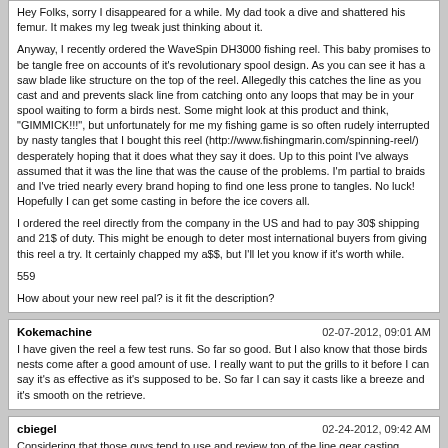Hey Folks, sorry I disappeared for a while. My dad took a dive and shattered his femur. It makes my leg tweak just thinking about it.

Anyway, I recently ordered the WaveSpin DH3000 fishing reel. This baby promises to be tangle free on accounts of it's revolutionary spool design. As you can see it has a saw blade like structure on the top of the reel. Allegedly this catches the line as you cast and and prevents slack line from catching onto any loops that may be in your spool waiting to form a birds nest. Some might look at this product and think, "GIMMICK!!!", but unfortunately for me my fishing game is so often rudely interrupted by nasty tangles that I bought this reel (http://www.fishingmarin.com/spinning-reel/) desperately hoping that it does what they say it does. Up to this point I've always assumed that it was the line that was the cause of the problems. I'm partial to braids and I've tried nearly every brand hoping to find one less prone to tangles. No luck! Hopefully I can get some casting in before the ice covers all.

I ordered the reel directly from the company in the US and had to pay 30$ shipping and 21$ of duty. This might be enough to deter most international buyers from giving this reel a try. It certainly chapped my a$$, but I'll let you know if it's worth while.

559

How about your new reel pal? is it fit the description?
Kokemachine | 02-07-2012, 09:01 AM
I have given the reel a few test runs. So far so good. But I also know that those birds nests come after a good amount of use. I really want to put the grills to it before I can say it's as effective as it's supposed to be. So far I can say it casts like a breeze and it's smooth on the retrieve.
cbiegel | 02-24-2012, 09:42 AM
Considering that those guys tend to use and review top of the line gear casting...